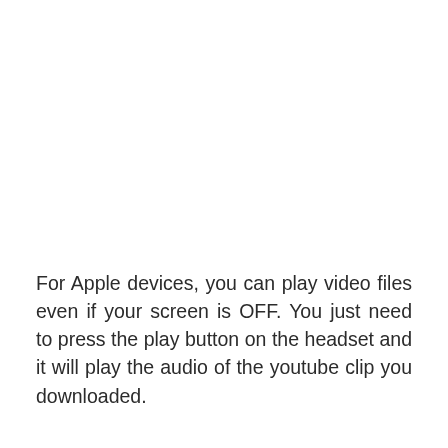For Apple devices, you can play video files even if your screen is OFF. You just need to press the play button on the headset and it will play the audio of the youtube clip you downloaded.